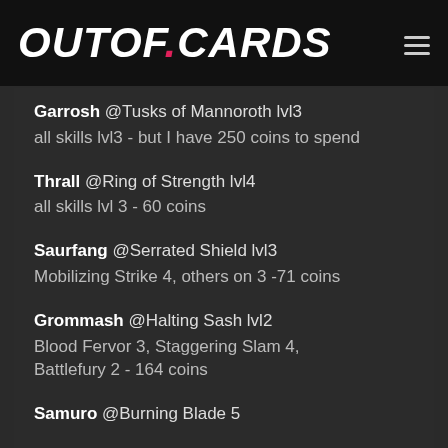OUTOF.CARDS
Garrosh @Tusks of Mannoroth lvl3 all skills lvl3 - but I have 250 coins to spend
Thrall @Ring of Strength lvl4 all skills lvl 3 - 60 coins
Saurfang @Serrated Shield lvl3 Mobilizing Strike 4, others on 3 -71 coins
Grommash @Halting Sash lvl2 Blood Fervor 3, Staggering Slam 4, Battlefury 2 - 164 coins
Samuro @Burning Blade 5